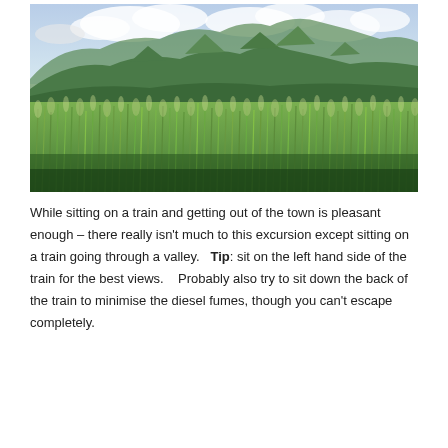[Figure (photo): A landscape photograph showing a lush green field of tall grass or sugarcane in the foreground, with green mountain ranges and a partly cloudy sky in the background.]
While sitting on a train and getting out of the town is pleasant enough – there really isn't much to this excursion except sitting on a train going through a valley.   Tip: sit on the left hand side of the train for the best views.    Probably also try to sit down the back of the train to minimise the diesel fumes, though you can't escape completely.